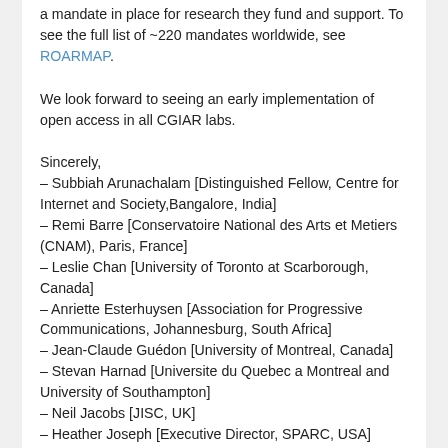a mandate in place for research they fund and support. To see the full list of ~220 mandates worldwide, see ROARMAP.
We look forward to seeing an early implementation of open access in all CGIAR labs.
Sincerely,
– Subbiah Arunachalam [Distinguished Fellow, Centre for Internet and Society,Bangalore, India]
– Remi Barre [Conservatoire National des Arts et Metiers (CNAM), Paris, France]
– Leslie Chan [University of Toronto at Scarborough, Canada]
– Anriette Esterhuysen [Association for Progressive Communications, Johannesburg, South Africa]
– Jean-Claude Guédon [University of Montreal, Canada]
– Stevan Harnad [Universite du Quebec a Montreal and University of Southampton]
– Neil Jacobs [JISC, UK]
– Heather Joseph [Executive Director, SPARC, USA]